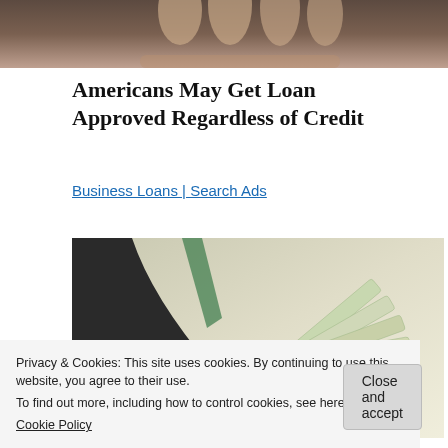[Figure (photo): Close-up photo of a hand holding cash money against a dark background, partially cropped at top]
Americans May Get Loan Approved Regardless of Credit
Business Loans | Search Ads
[Figure (photo): Person in dark suit holding out a fan of US dollar bills toward the viewer]
Privacy & Cookies: This site uses cookies. By continuing to use this website, you agree to their use.
To find out more, including how to control cookies, see here:
Cookie Policy
Close and accept
Americans May Get Small Business Loans